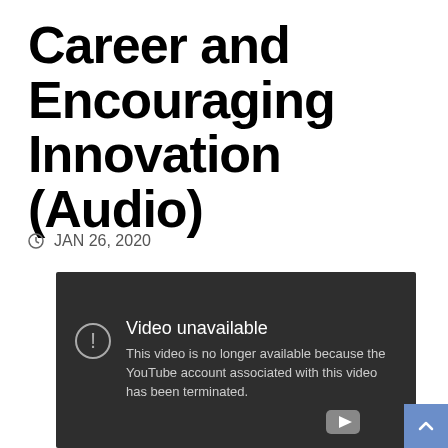Career and Encouraging Innovation (Audio)
JAN 26, 2020
[Figure (screenshot): YouTube embedded video player showing error message: 'Video unavailable - This video is no longer available because the YouTube account associated with this video has been terminated.']